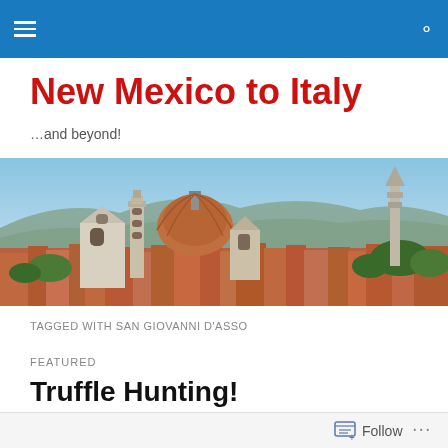Navigation bar with hamburger menu and search icon
New Mexico to Italy
…and beyond!
[Figure (photo): Panoramic view of Florence, Italy skyline with the Duomo cathedral dome prominently visible, terracotta rooftops, hills in background, and church spire on the right]
TAGGED WITH SAN GIOVANNI D'ASSO
FEATURED
Truffle Hunting!
Follow ...